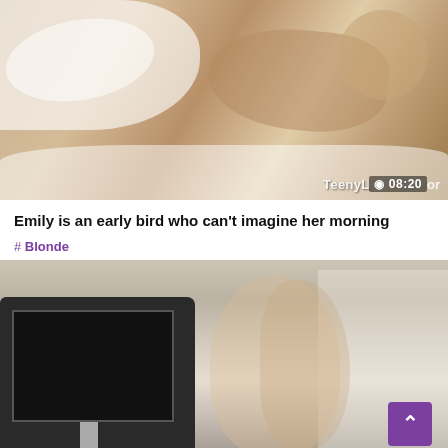[Figure (photo): Two people kissing on a bed with white sheets, viewed from behind]
Emily is an early bird who can't imagine her morning
#Blonde
[Figure (photo): Two women standing near a computer desk, one blonde with glasses in white top and plaid skirt, one brunette in black outfit]